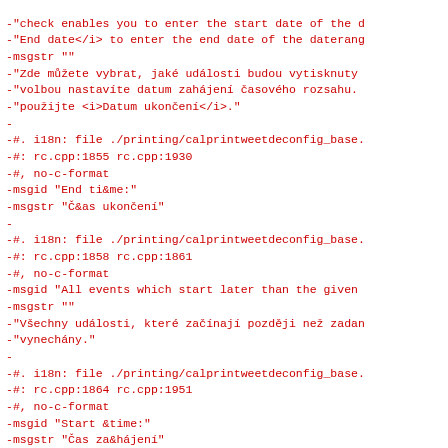-"check enables you to enter the start date of the d
-"End date</i> to enter the end date of the daterang
-msgstr ""
-"Zde můžete vybrat, jaké události budou vytisknuty
-"volbou nastavíte datum zahájení časového rozsahu.
-"použijte <i>Datum ukončení</i>."
-
-#. i18n: file ./printing/calprintweetdeconfig_base.
-#: rc.cpp:1855 rc.cpp:1930
-#, no-c-format
-msgid "End ti&me:"
-msgstr "Č&as ukončení"
-
-#. i18n: file ./printing/calprintweetdeconfig_base.
-#: rc.cpp:1858 rc.cpp:1861
-#, no-c-format
-msgid "All events which start later than the given
-msgstr ""
-"Všechny události, které začínají později než zadan
-"vynechány."
-
-#. i18n: file ./printing/calprintweetdeconfig_base.
-#: rc.cpp:1864 rc.cpp:1951
-#, no-c-format
-msgid "Start &time:"
-msgstr "Čas za&hájení"
-
-#. i18n: file ./printing/calprintweetdeconfig_base.
-#: rc.cpp:1867 rc.cpp:1870
-#. no-c-format